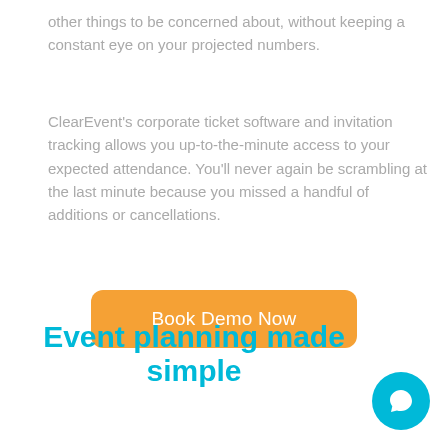other things to be concerned about, without keeping a constant eye on your projected numbers.
ClearEvent's corporate ticket software and invitation tracking allows you up-to-the-minute access to your expected attendance. You'll never again be scrambling at the last minute because you missed a handful of additions or cancellations.
[Figure (other): Orange rounded button with white text 'Book Demo Now']
Event planning made simple